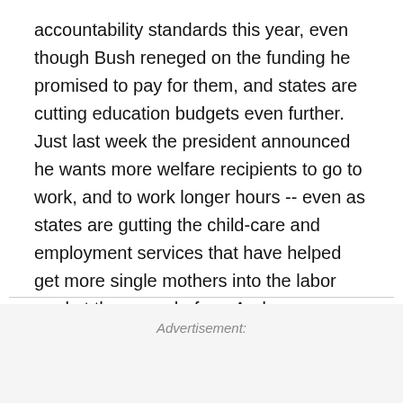accountability standards this year, even though Bush reneged on the funding he promised to pay for them, and states are cutting education budgets even further. Just last week the president announced he wants more welfare recipients to go to work, and to work longer hours -- even as states are gutting the child-care and employment services that have helped get more single mothers into the labor market than ever before. And even as welfare rolls are ticking upward again, thanks to the protracted recession.
Advertisement: